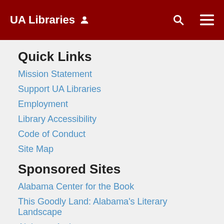UA Libraries
Quick Links
Mission Statement
Support UA Libraries
Employment
Library Accessibility
Code of Conduct
Site Map
Sponsored Sites
Alabama Center for the Book
This Goodly Land: Alabama's Literary Landscape
Alabama Authors
[Figure (infographic): Social media icons: Twitter, Instagram, Facebook, YouTube]